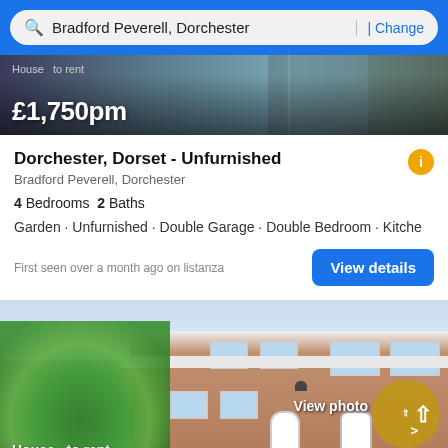Bradford Peverell, Dorchester | Change
[Figure (photo): Top portion of a house listing photo with price overlay showing £1,750pm]
£1,750pm
Dorchester, Dorset - Unfurnished
Bradford Peverell, Dorchester
4 Bedrooms  2 Baths
Garden · Unfurnished · Double Garage · Double Bedroom · Kitche
First seen over a month ago on listanza
[Figure (photo): Photo of a brick terraced house with front gardens, trees on left, white doors]
House · to rent